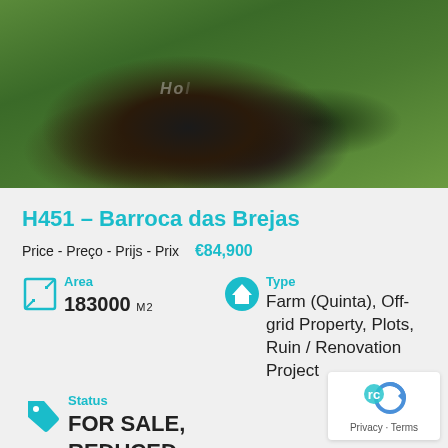[Figure (photo): Aerial photograph of a rural property showing a dark pond or lake surrounded by green vegetation and trees, viewed from above.]
H451 – Barroca das Brejas
Price - Preço - Prijs - Prix  €84,900
Area
183000 M2
Type
Farm (Quinta), Off-grid Property, Plots, Ruin / Renovation Project
Status
FOR SALE, REDUCED